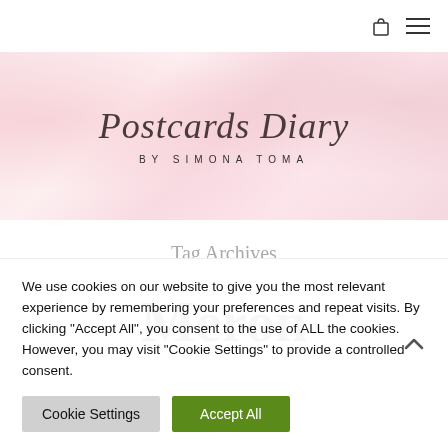Postcards Diary BY SIMONA TOMA
Tag Archives
Meron
We use cookies on our website to give you the most relevant experience by remembering your preferences and repeat visits. By clicking "Accept All", you consent to the use of ALL the cookies. However, you may visit "Cookie Settings" to provide a controlled consent.
Cookie Settings  Accept All